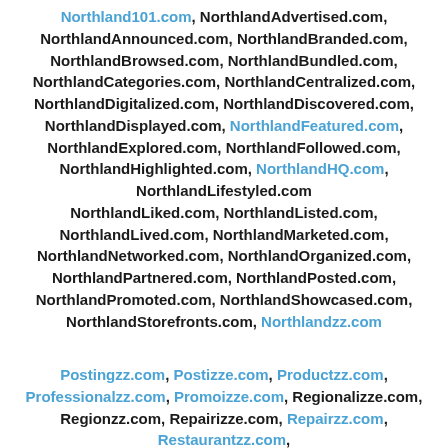Northland101.com, NorthlandAdvertised.com, NorthlandAnnounced.com, NorthlandBranded.com, NorthlandBrowsed.com, NorthlandBundled.com, NorthlandCategories.com, NorthlandCentralized.com, NorthlandDigitalized.com, NorthlandDiscovered.com, NorthlandDisplayed.com, NorthlandFeatured.com, NorthlandExplored.com, NorthlandFollowed.com, NorthlandHighlighted.com, NorthlandHQ.com, NorthlandLifestyled.com NorthlandLiked.com, NorthlandListed.com, NorthlandLived.com, NorthlandMarketed.com, NorthlandNetworked.com, NorthlandOrganized.com, NorthlandPartnered.com, NorthlandPosted.com, NorthlandPromoted.com, NorthlandShowcased.com, NorthlandStorefronts.com, Northlandzz.com
Postingzz.com, Postizze.com, Productzz.com, Professionalzz.com, Promoizze.com, Regionalizze.com, Regionzz.com, Repairizze.com, Repairzz.com, Restaurantzz.com,